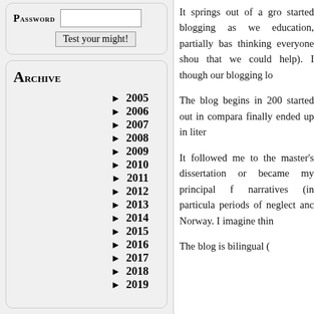Password [input] Test your might!
Archive
► 2005
► 2006
► 2007
► 2008
► 2009
► 2010
► 2011
► 2012
► 2013
► 2014
► 2015
► 2016
► 2017
► 2018
► 2019
It springs out of a gro started blogging as we education, partially bas thinking everyone shou that we could help). I though our blogging lo
The blog begins in 200 started out in compara finally ended up in liter
It followed me to the master's dissertation or became my principal f narratives (in particula periods of neglect anc Norway. I imagine thin
The blog is bilingual (